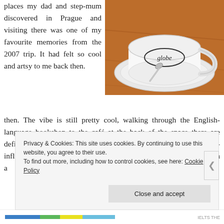places my dad and step-mum discovered in Prague and visiting there was one of my favourite memories from the 2007 trip. It had felt so cool and artsy to me back then. The vibe is still pretty cool, walking through the English-language bookshop to the café at the back of the space there are definitely worse places to have lunch. The menu which is American-influenced features all the usual suspects. We went early afternoon on a
[Figure (photo): A white ceramic coffee cup and saucer with 'globe' logo printed on the cup, containing a spoon, photographed on a wooden surface from above and slightly to the side.]
Privacy & Cookies: This site uses cookies. By continuing to use this website, you agree to their use. To find out more, including how to control cookies, see here: Cookie Policy
Close and accept